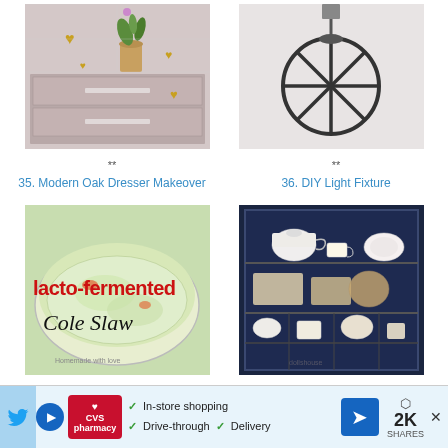[Figure (photo): Dresser with heart stickers on wall tiles and orchid plant, modern oak dresser makeover]
[Figure (photo): DIY light fixture made of black metal circular frame hung from ceiling]
**
**
35. Modern Oak Dresser Makeover
36. DIY Light Fixture
[Figure (photo): Lacto-fermented Cole Slaw in a glass bowl with red overlay text]
[Figure (photo): Dark navy cabinet displaying miniature tea set and decorative collectibles]
**
**
[Figure (screenshot): CVS Pharmacy advertisement banner: In-store shopping, Drive-through, Delivery. Share count: 2K SHARES]